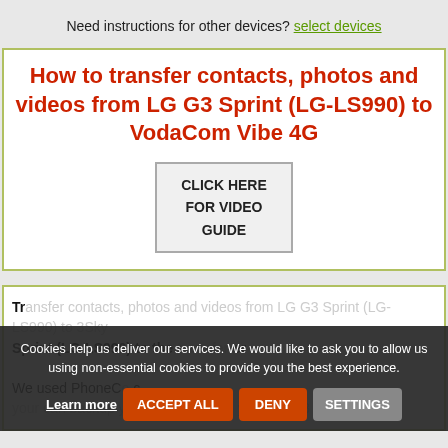Need instructions for other devices? select devices
How to transfer contacts, photos and videos from LG G3 Sprint (LG-LS990) to VodaCom Vibe 4G
CLICK HERE FOR VIDEO GUIDE
Transfer contacts, photos and videos from LG G3 Sprint (LG-LS990) to the transfer device carrier
We used PhoneConf c  your can backup your contacts from your LG G3 Sprint (LG...
Cookies help us deliver our services. We would like to ask you to allow us using non-essential cookies to provide you the best experience.
Learn more | ACCEPT ALL | DENY | SETTINGS